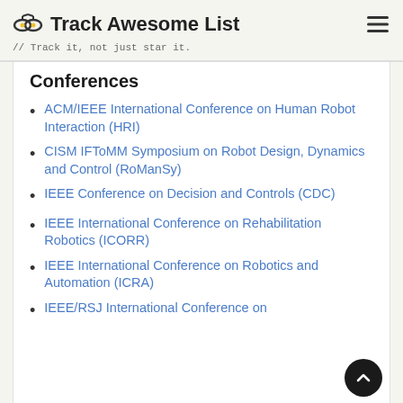Track Awesome List // Track it, not just star it.
Conferences
ACM/IEEE International Conference on Human Robot Interaction (HRI)
CISM IFToMM Symposium on Robot Design, Dynamics and Control (RoManSy)
IEEE Conference on Decision and Controls (CDC)
IEEE International Conference on Rehabilitation Robotics (ICORR)
IEEE International Conference on Robotics and Automation (ICRA)
IEEE/RSJ International Conference on